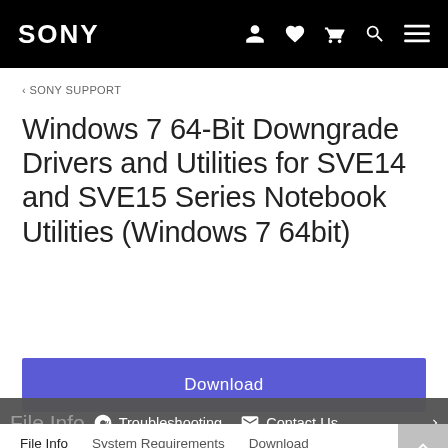SONY
< SONY SUPPORT
Windows 7 64-Bit Downgrade Drivers and Utilities for SVE14 and SVE15 Series Notebook Utilities (Windows 7 64bit)
Download
File Info   System Requirements   Download
File Info   Troubleshooting   Contact Us
File Name